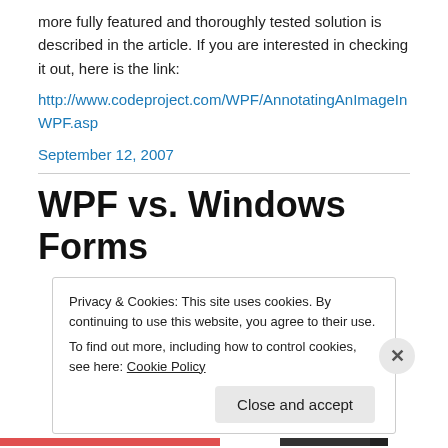more fully featured and thoroughly tested solution is described in the article.  If you are interested in checking it out, here is the link:
http://www.codeproject.com/WPF/AnnotatingAnImageInWPF.asp
September 12, 2007
WPF vs. Windows Forms
Privacy & Cookies: This site uses cookies. By continuing to use this website, you agree to their use.
To find out more, including how to control cookies, see here: Cookie Policy
Close and accept